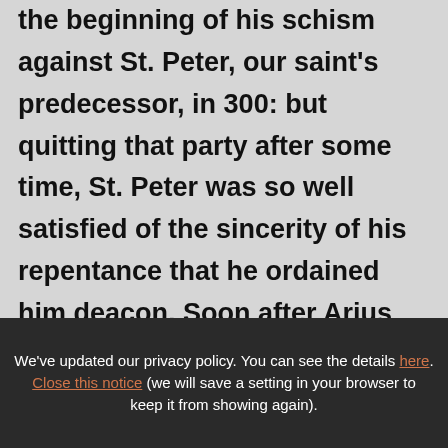the beginning of his schism against St. Peter, our saint's predecessor, in 300: but quitting that party after some time, St. Peter was so well satisfied of the sincerity of his repentance that he ordained him deacon. Soon after Arius discovered his turbulent spirit, in accusing his archbishop and raising disturbances in favour of the Meletians. This obliged St. Peter to excommunicate him, nor could he ever be induced to revoke that sentence. But his
We've updated our privacy policy. You can see the details here. Close this notice (we will save a setting in your browser to keep it from showing again).